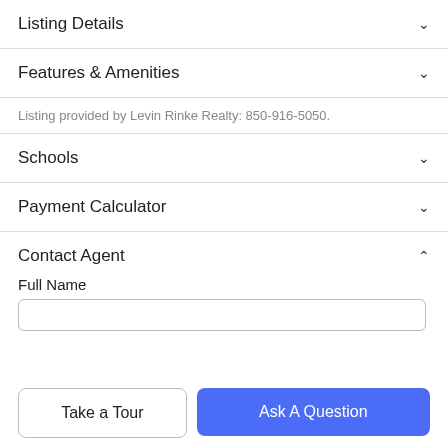Listing Details
Features & Amenities
Listing provided by Levin Rinke Realty: 850-916-5050.
Schools
Payment Calculator
Contact Agent
Full Name
Take a Tour
Ask A Question